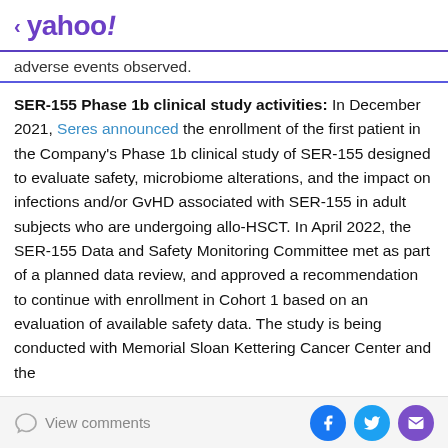< yahoo!
adverse events observed.
SER-155 Phase 1b clinical study activities: In December 2021, Seres announced the enrollment of the first patient in the Company's Phase 1b clinical study of SER-155 designed to evaluate safety, microbiome alterations, and the impact on infections and/or GvHD associated with SER-155 in adult subjects who are undergoing allo-HSCT. In April 2022, the SER-155 Data and Safety Monitoring Committee met as part of a planned data review, and approved a recommendation to continue with enrollment in Cohort 1 based on an evaluation of available safety data. The study is being conducted with Memorial Sloan Kettering Cancer Center and the
View comments